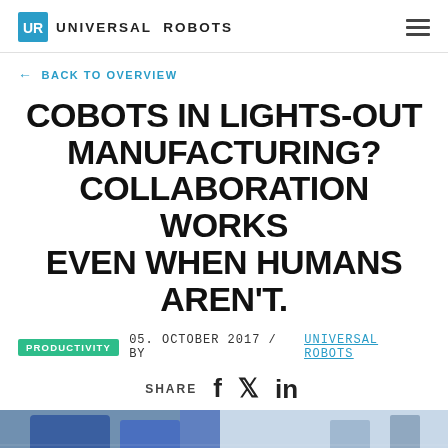UNIVERSAL ROBOTS
← BACK TO OVERVIEW
COBOTS IN LIGHTS-OUT MANUFACTURING? COLLABORATION WORKS EVEN WHEN HUMANS AREN'T.
PRODUCTIVITY  05. OCTOBER 2017 / BY UNIVERSAL ROBOTS
SHARE  f  𝕏  in
[Figure (photo): Industrial manufacturing floor with robotic equipment, blue machinery visible]